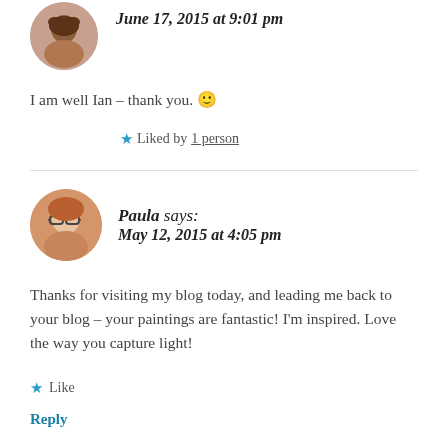[Figure (photo): Circular avatar photo of a woman with dark hair, cropped at top]
June 17, 2015 at 9:01 pm
I am well Ian – thank you. 🙂
★ Liked by 1 person
[Figure (photo): Circular avatar photo of a woman with glasses]
Paula says:
May 12, 2015 at 4:05 pm
Thanks for visiting my blog today, and leading me back to your blog – your paintings are fantastic! I'm inspired. Love the way you capture light!
★ Like
Reply